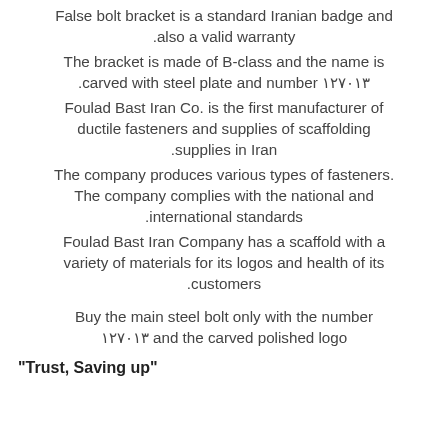False bolt bracket is a standard Iranian badge and also a valid warranty.
The bracket is made of B-class and the name is carved with steel plate and number ۱۲۷۰۱۳.
Foulad Bast Iran Co. is the first manufacturer of ductile fasteners and supplies of scaffolding supplies in Iran.
The company produces various types of fasteners. The company complies with the national and international standards.
Foulad Bast Iran Company has a scaffold with a variety of materials for its logos and health of its customers.
Buy the main steel bolt only with the number ۱۲۷۰۱۳ and the carved polished logo
"Trust, Saving up"